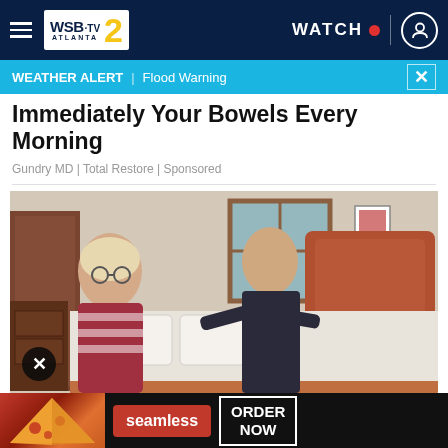WSB-TV 2 ATLANTA | WATCH | User icon
WEATHER ALERT | Flood Warning
Immediately Your Bowels Every Morning
Gundry MD | Total Restore | Sponsored
[Figure (photo): Two older adults, a woman with glasses and a man, standing beside a bed with a wooden headboard in a bedroom setting.]
[Figure (photo): Advertisement banner showing pizza slices, Seamless logo in red, and ORDER NOW button with black background.]
Mattre...are